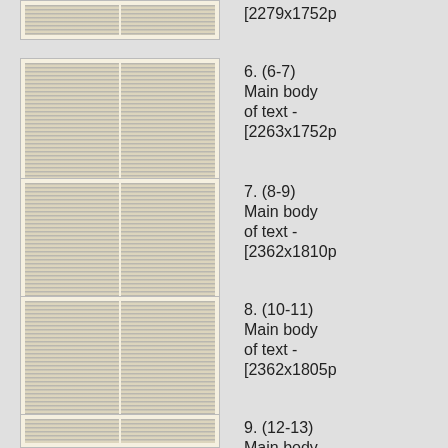[Figure (other): Thumbnail of book spread pages 4-5, partial view at top]
[2279x1752p
[Figure (other): Thumbnail of book spread pages 6-7]
6. (6-7) Main body of text - [2263x1752p
[Figure (other): Thumbnail of book spread pages 8-9]
7. (8-9) Main body of text - [2362x1810p
[Figure (other): Thumbnail of book spread pages 10-11]
8. (10-11) Main body of text - [2362x1805p
[Figure (other): Thumbnail of book spread pages 12-13]
9. (12-13) Main body of text - [2271x1760p
10. (14-15) Main body of text -